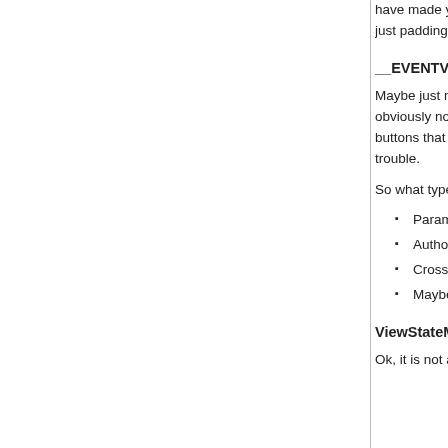have made your modifications, click the â€œEncodeâ€ __EVENTVALIDATION value.  It may be possible to atte by just padding a bunch of integers into the list and subm and would probably generate a lot of errors for someone
__EVENTVALIDATION â€" Thoughts
Maybe just me, but I always thought that if I had event va down lists that was submitted.  I thought that this type of obviously not the case and honestly brings up a very imp configuration for protectionâ€.  Although this post uses b buttons that are made visible based on your role.  If eve have their events added to the acceptable list.  If you are big trouble.
So what types of attacks are possible?
Parameter tampering
Authorization bypass
Cross Site Scripting
Maybe Moreâ€¦
ViewStateMAC â€" Finally!!
Ok, it is not all bad news and finally we come to our frien ViewStateMAC is enabled by default, so if this is disable